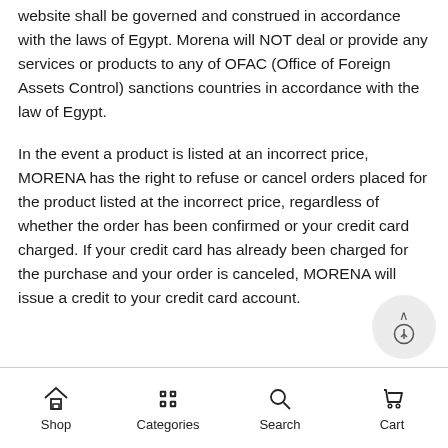website shall be governed and construed in accordance with the laws of Egypt. Morena will NOT deal or provide any services or products to any of OFAC (Office of Foreign Assets Control) sanctions countries in accordance with the law of Egypt.
In the event a product is listed at an incorrect price, MORENA has the right to refuse or cancel orders placed for the product listed at the incorrect price, regardless of whether the order has been confirmed or your credit card charged. If your credit card has already been charged for the purchase and your order is canceled, MORENA will issue a credit to your credit card account.
Shop   Categories   Search   Cart